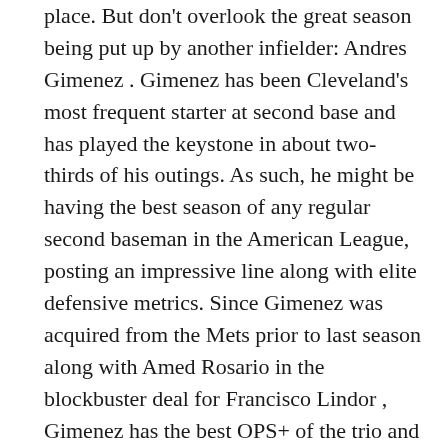place. But don't overlook the great season being put up by another infielder: Andres Gimenez . Gimenez has been Cleveland's most frequent starter at second base and has played the keystone in about two-thirds of his outings. As such, he might be having the best season of any regular second baseman in the American League, posting an impressive line along with elite defensive metrics. Since Gimenez was acquired from the Mets prior to last season along with Amed Rosario in the blockbuster deal for Francisco Lindor , Gimenez has the best OPS+ of the trio and the highest total of defensive runs saved. -- Doolittle 15. Philadelphia Phillies Record: 36-34 Previous ranking: 14 ESPN Sunday Night Baseball Catch the biggest names and the best teams in baseball on ESPN all season long. Sunday at 7 p.m. ET: Dodgers-Braves Aaron Nola continues to fly under the radar as he makes a strong bid for All-Star status. He's just 4-4 but with a 2.19 ERA. He's one of the top major